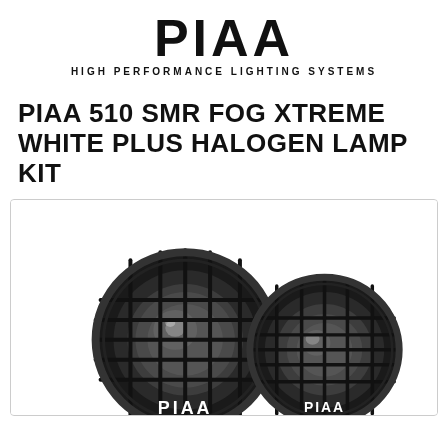PIAA HIGH PERFORMANCE LIGHTING SYSTEMS
PIAA 510 SMR FOG XTREME WHITE PLUS HALOGEN LAMP KIT
[Figure (photo): Two PIAA 510 SMR fog lamp units with black housing and protective grille covers, showing PIAA branding on the bottom of the lamps. The lamps are round with a wire grille guard over the lens.]